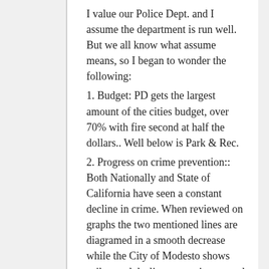I value our Police Dept. and I assume the department is run well. But we all know what assume means, so I began to wonder the following:
1. Budget: PD gets the largest amount of the cities budget, over 70% with fire second at half the dollars.. Well below is Park & Rec.
2. Progress on crime prevention:: Both Nationally and State of California have seen a constant decline in crime. When reviewed on graphs the two mentioned lines are diagramed in a smooth decrease while the City of Modesto shows spikes and declines repeating up and down as recorded 2011 forward.
3. Private Law Enforcement: Not included under budgeted law enforcement figure for 2020/2021 proposed budget is the dollars paid to private law enforcement, previously or currently held by Costly Incorporated of law department...